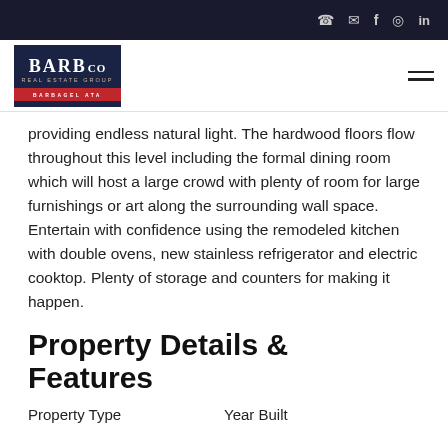BARB CO REAL ESTATE GROUP BARBAGEL ATA | [navigation icons]
providing endless natural light. The hardwood floors flow throughout this level including the formal dining room which will host a large crowd with plenty of room for large furnishings or art along the surrounding wall space. Entertain with confidence using the remodeled kitchen with double ovens, new stainless refrigerator and electric cooktop. Plenty of storage and counters for making it happen.
Property Details & Features
Property Type     Year Built